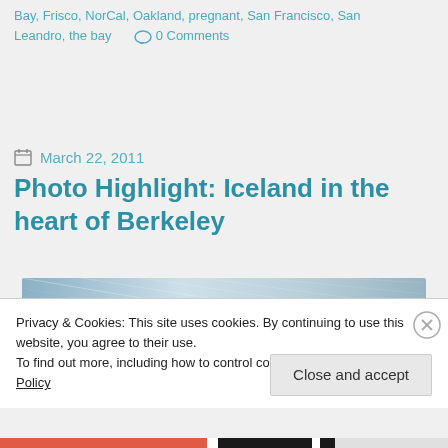Bay, Frisco, NorCal, Oakland, pregnant, San Francisco, San Leandro, the bay   0 Comments
March 22, 2011
Photo Highlight: Iceland in the heart of Berkeley
[Figure (photo): Partial view of a photo with diagonal geometric lines and gradient blue-gray tones]
Privacy & Cookies: This site uses cookies. By continuing to use this website, you agree to their use.
To find out more, including how to control cookies, see here: Cookie Policy
Close and accept